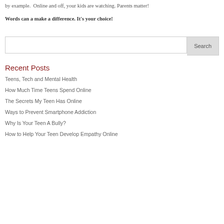Always keep in mind, we are their role models. Lead by example.  Online and off, your kids are watching. Parents matter!
Words can a make a difference. It's your choice!
Recent Posts
Teens, Tech and Mental Health
How Much Time Teens Spend Online
The Secrets My Teen Has Online
Ways to Prevent Smartphone Addiction
Why Is Your Teen A Bully?
How to Help Your Teen Develop Empathy Online